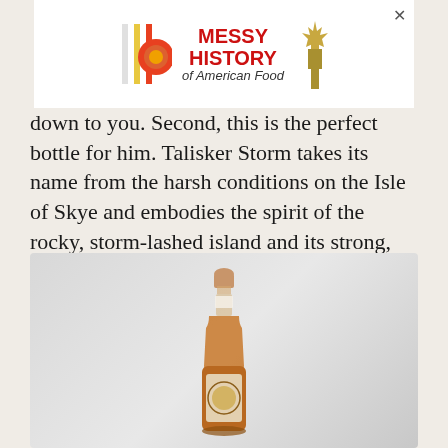[Figure (screenshot): Advertisement banner for 'Messy History of American Food' with colorful logo and Statue of Liberty graphic, with close X button]
down to you. Second, this is the perfect bottle for him. Talisker Storm takes its name from the harsh conditions on the Isle of Skye and embodies the spirit of the rocky, storm-lashed island and its strong, steadfast people. Slightly spicy with touches of smoked beef, black pepper, and honey, this whisky was named Highlands Single Malt of the Year by Whisky Advocate and is sure to please any dad with a rebellious side.
[Figure (photo): A bottle of Talisker Storm whisky photographed against a light gray gradient background]